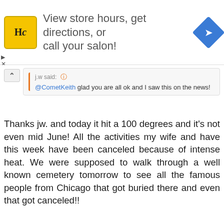[Figure (screenshot): Ad banner: HC logo (yellow), text 'View store hours, get directions, or call your salon!', blue diamond direction icon]
j.w said: @CometKeith glad you are all ok and I saw this on the news!
Thanks jw. and today it hit a 100 degrees and it's not even mid June! All the activities my wife and have this week have been canceled because of intense heat. We were supposed to walk through a well known cemetery tomorrow to see all the famous people from Chicago that got buried there and even that got canceled!!
Reply
😮 💙 YShahar, Tula and j.w
CometKeith